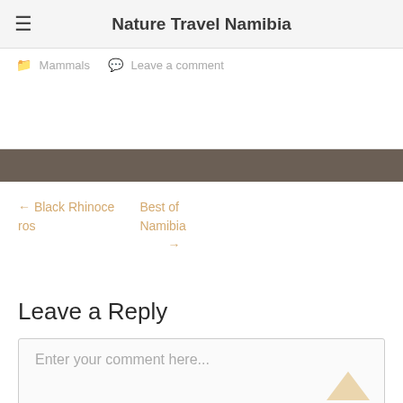Nature Travel Namibia
Mammals   Leave a comment
← Black Rhinoceros   Best of Namibia →
Leave a Reply
Enter your comment here...